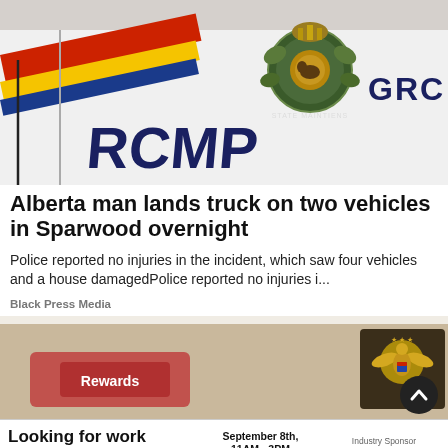[Figure (photo): Close-up photo of an RCMP police car door showing the RCMP GRC badge/crest and 'RCMP' lettering, with red, yellow, and blue diagonal stripes on white car body]
Alberta man lands truck on two vehicles in Sparwood overnight
Police reported no injuries in the incident, which saw four vehicles and a house damagedPolice reported no injuries i...
Black Press Media
[Figure (photo): Image showing what appears to be reward cards and a US passport with gold eagle emblem on dark background]
Looking for work or a new career? Featuring 15+ Exhibitors and Growing! September 8th, 11AM - 3PM CLICK HERE Industry Sponsor Interior Health